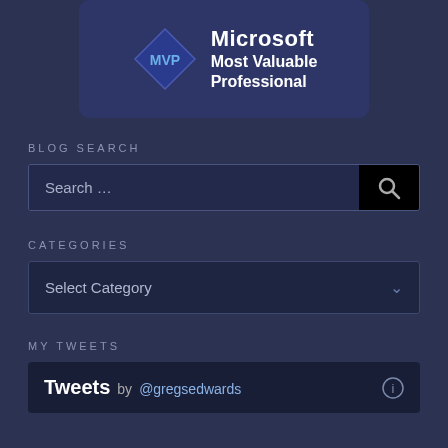[Figure (logo): Microsoft MVP (Most Valuable Professional) logo badge with diamond shape and text on dark blue background]
BLOG SEARCH
[Figure (screenshot): Search input box with placeholder 'Search...' and a black search button with magnifying glass icon]
CATEGORIES
[Figure (screenshot): Dropdown selector showing 'Select Category' with a down arrow chevron]
MY TWEETS
Tweets by @gregsedwards